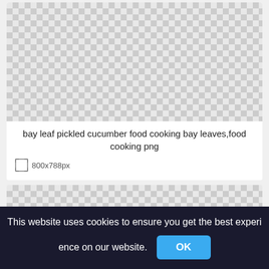[Figure (photo): Checkerboard transparency placeholder image for a bay leaf pickled cucumber food image, 800x788px]
bay leaf pickled cucumber food cooking bay leaves,food cooking png
800x788px
[Figure (photo): Second checkerboard transparency placeholder image, partially visible]
This website uses cookies to ensure you get the best experi ence on our website.